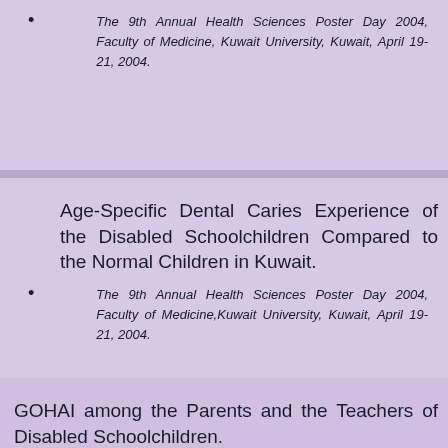The 9th Annual Health Sciences Poster Day 2004, Faculty of Medicine, Kuwait University, Kuwait, April 19-21, 2004.
Age-Specific Dental Caries Experience of the Disabled Schoolchildren Compared to the Normal Children in Kuwait.
The 9th Annual Health Sciences Poster Day 2004, Faculty of Medicine,Kuwait University, Kuwait, April 19-21, 2004.
GOHAI among the Parents and the Teachers of Disabled Schoolchildren.